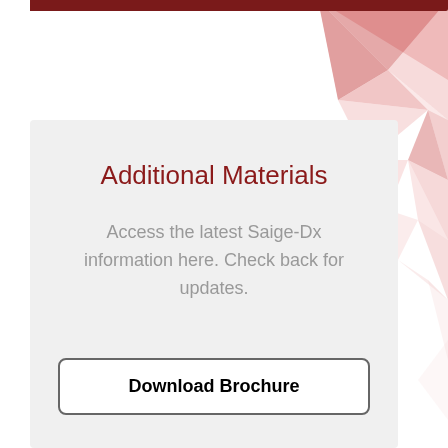[Figure (illustration): Dark red/maroon horizontal bar at top of page, with pink geometric low-poly triangle pattern decorating the top-right background area]
Additional Materials
Access the latest Saige-Dx information here. Check back for updates.
Download Brochure